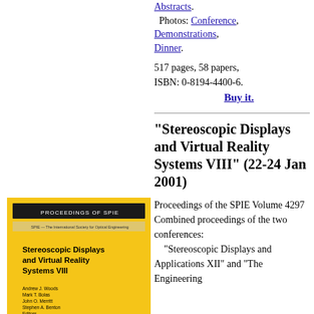Abstracts. Photos: Conference, Demonstrations, Dinner.
517 pages, 58 papers, ISBN: 0-8194-4400-6.
Buy it.
[Figure (photo): Book cover of Stereoscopic Displays and Virtual Reality Systems VIII, SPIE Proceedings Volume 4297, yellow cover]
"Stereoscopic Displays and Virtual Reality Systems VIII" (22-24 Jan 2001)
Proceedings of the SPIE Volume 4297 Combined proceedings of the two conferences: "Stereoscopic Displays and Applications XII" and "The Engineering